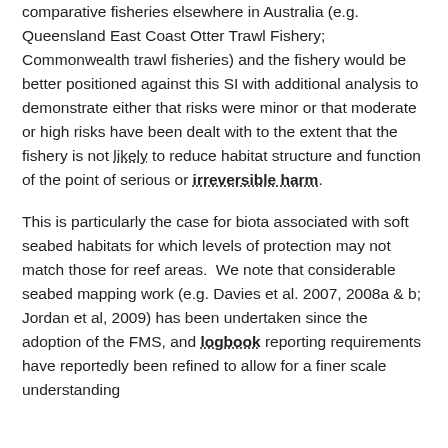comparative fisheries elsewhere in Australia (e.g. Queensland East Coast Otter Trawl Fishery; Commonwealth trawl fisheries) and the fishery would be better positioned against this SI with additional analysis to demonstrate either that risks were minor or that moderate or high risks have been dealt with to the extent that the fishery is not likely to reduce habitat structure and function of the point of serious or irreversible harm.
This is particularly the case for biota associated with soft seabed habitats for which levels of protection may not match those for reef areas.  We note that considerable seabed mapping work (e.g. Davies et al. 2007, 2008a & b; Jordan et al, 2009) has been undertaken since the adoption of the FMS, and logbook reporting requirements have reportedly been refined to allow for a finer scale understanding